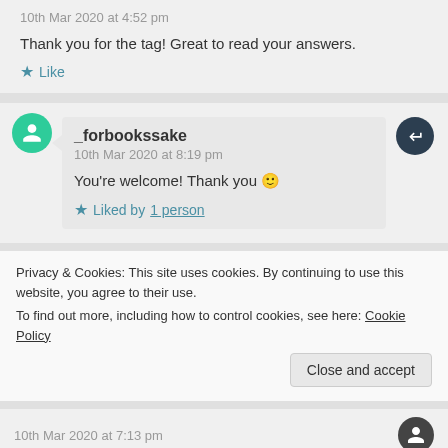10th Mar 2020 at 4:52 pm
Thank you for the tag! Great to read your answers.
Like
_forbookssake
10th Mar 2020 at 8:19 pm
You're welcome! Thank you 🙂
Liked by 1 person
Privacy & Cookies: This site uses cookies. By continuing to use this website, you agree to their use.
To find out more, including how to control cookies, see here: Cookie Policy
Close and accept
10th Mar 2020 at 7:13 pm